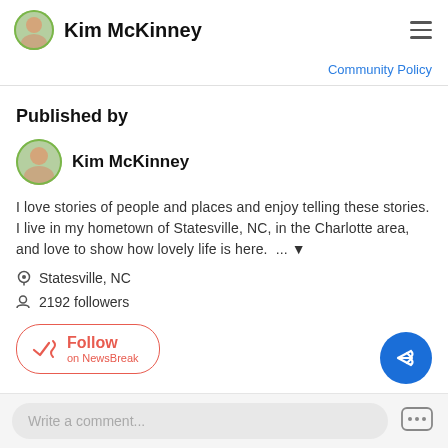Kim McKinney
Community Policy
Published by
Kim McKinney
I love stories of people and places and enjoy telling these stories. I live in my hometown of Statesville, NC, in the Charlotte area, and love to show how lovely life is here.  ...
Statesville, NC
2192 followers
Follow on NewsBreak
Write a comment...